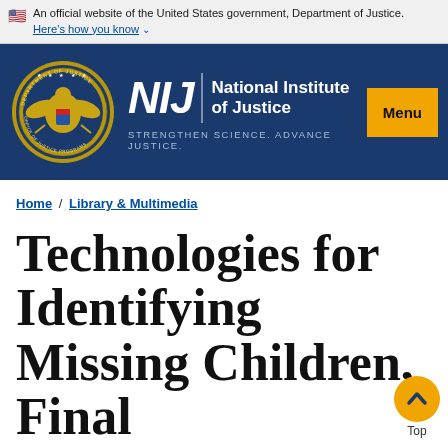An official website of the United States government, Department of Justice. Here's how you know
[Figure (logo): NIJ (National Institute of Justice) logo with Department of Justice seal, tagline: STRENGTHEN SCIENCE. ADVANCE JUSTICE., and Menu button]
Home / Library & Multimedia
Technologies for Identifying Missing Children, Final